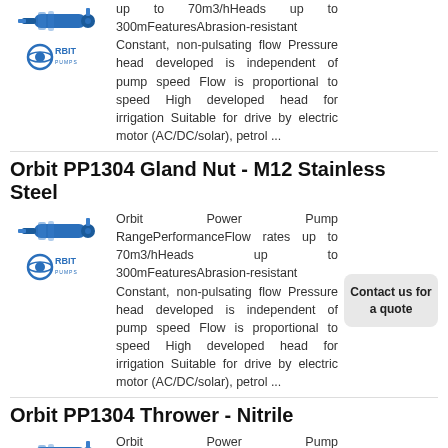up to 70m3/hHeads up to 300mFeaturesAbrasion-resistant Constant, non-pulsating flow Pressure head developed is independent of pump speed Flow is proportional to speed High developed head for irrigation Suitable for drive by electric motor (AC/DC/solar), petrol ...
Orbit PP1304 Gland Nut - M12 Stainless Steel
Orbit Power Pump RangePerformanceFlow rates up to 70m3/hHeads up to 300mFeaturesAbrasion-resistant Constant, non-pulsating flow Pressure head developed is independent of pump speed Flow is proportional to speed High developed head for irrigation Suitable for drive by electric motor (AC/DC/solar), petrol ...
Contact us for a quote
Orbit PP1304 Thrower - Nitrile
Orbit Power Pump RangePerformanceFlow rates up to 70m3/hHeads up to 300mFeaturesAbrasion-resistant Constant, non-pulsating flow Pressure head developed is independent of pump speed Flow is proportional to speed High developed head for irrigation Suitable for drive by electric motor
Contact us for a quote